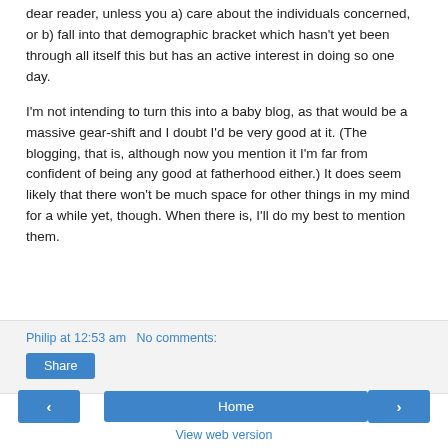dear reader, unless you a) care about the individuals concerned, or b) fall into that demographic bracket which hasn't yet been through all itself this but has an active interest in doing so one day.
I'm not intending to turn this into a baby blog, as that would be a massive gear-shift and I doubt I'd be very good at it. (The blogging, that is, although now you mention it I'm far from confident of being any good at fatherhood either.) It does seem likely that there won't be much space for other things in my mind for a while yet, though. When there is, I'll do my best to mention them.
Philip at 12:53 am   No comments:
Share
‹
Home
›
View web version